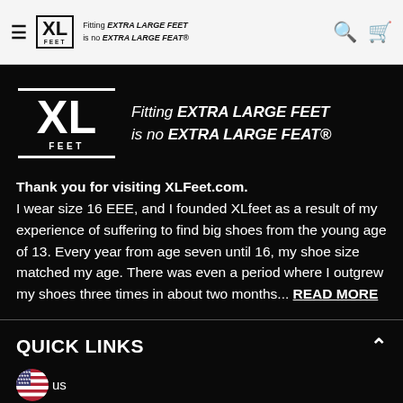XL FEET — Fitting EXTRA LARGE FEET is no EXTRA LARGE FEAT®
[Figure (logo): XL FEET logo large white on black with tagline: Fitting EXTRA LARGE FEET is no EXTRA LARGE FEAT®]
Thank you for visiting XLFeet.com. I wear size 16 EEE, and I founded XLfeet as a result of my experience of suffering to find big shoes from the young age of 13. Every year from age seven until 16, my shoe size matched my age. There was even a period where I outgrew my shoes three times in about two months... READ MORE
QUICK LINKS
[Figure (illustration): US flag circle icon with text 'us']